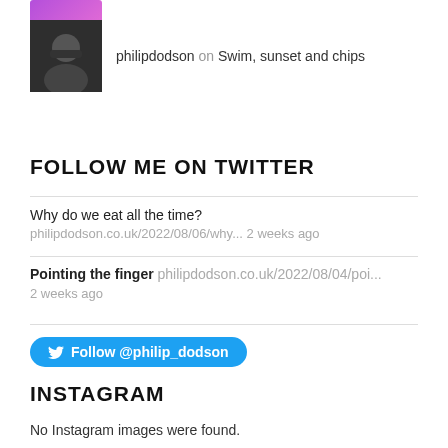[Figure (photo): Purple/pink gradient strip at top, partial avatar]
[Figure (photo): Black and white photo of a man]
philipdodson on Swim, sunset and chips
FOLLOW ME ON TWITTER
Why do we eat all the time?
philipdodson.co.uk/2022/08/06/why... 2 weeks ago
Pointing the finger philipdodson.co.uk/2022/08/04/poi...
2 weeks ago
[Figure (other): Blue Twitter follow button with bird icon: Follow @philip_dodson]
INSTAGRAM
No Instagram images were found.